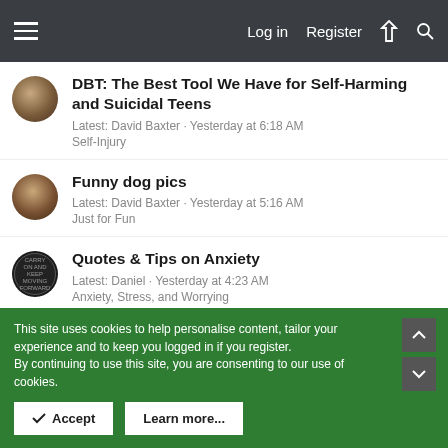Log in  Register
DBT: The Best Tool We Have for Self-Harming and Suicidal Teens
Latest: David Baxter · Yesterday at 6:18 AM
Self-Injury
Funny dog pics
Latest: David Baxter · Yesterday at 5:16 AM
Just for Fun
Quotes & Tips on Anxiety
Latest: Daniel · Yesterday at 4:23 AM
Anxiety, Stress, and Worrying
[Figure (screenshot): Advertisement image showing partial photo of hands/person]
This site uses cookies to help personalise content, tailor your experience and to keep you logged in if you register.
By continuing to use this site, you are consenting to our use of cookies.
Accept
Learn more...